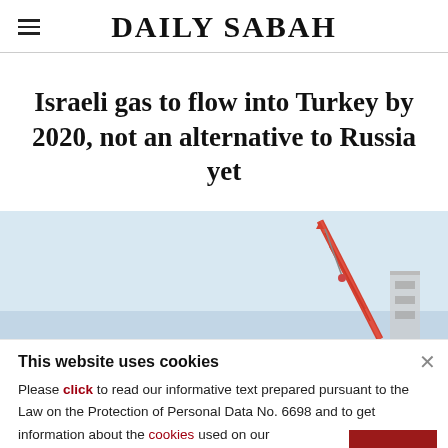DAILY SABAH
Israeli gas to flow into Turkey by 2020, not an alternative to Russia yet
[Figure (photo): Crane and offshore platform against a light blue sky]
This website uses cookies
Please click to read our informative text prepared pursuant to the Law on the Protection of Personal Data No. 6698 and to get information about the cookies used on our